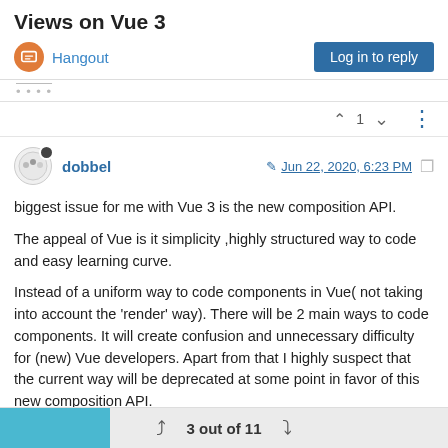Views on Vue 3
Hangout | Log in to reply
....
1
dobbel  Jun 22, 2020, 6:23 PM
biggest issue for me with Vue 3 is the new composition API.
The appeal of Vue is it simplicity ,highly structured way to code and easy learning curve.
Instead of a uniform way to code components in Vue( not taking into account the 'render' way). There will be 2 main ways to code components. It will create confusion and unnecessary difficulty for (new) Vue developers. Apart from that I highly suspect that the current way will be deprecated at some point in favor of this new composition API.
3 out of 11